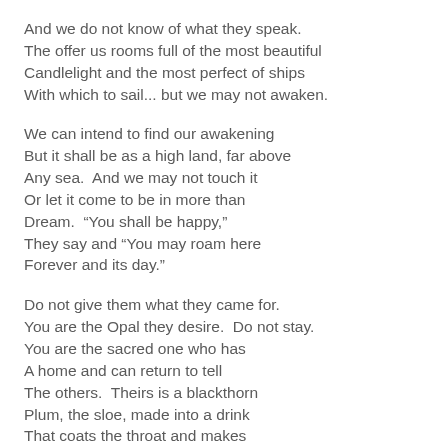And we do not know of what they speak.
The offer us rooms full of the most beautiful
Candlelight and the most perfect of ships
With which to sail... but we may not awaken.

We can intend to find our awakening
But it shall be as a high land, far above
Any sea.  And we may not touch it
Or let it come to be in more than
Dream.  “You shall be happy,”
They say and “You may roam here
Forever and its day.”

Do not give them what they came for.
You are the Opal they desire.  Do not stay.
You are the sacred one who has
A home and can return to tell
The others.  Theirs is a blackthorn
Plum, the sloe, made into a drink
That coats the throat and makes
A siren-like music as we struggle